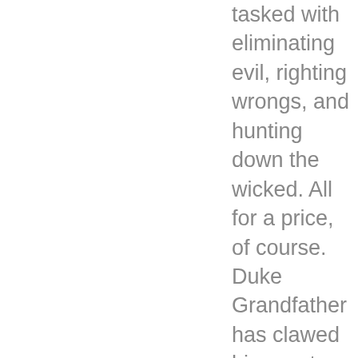tasked with eliminating evil, righting wrongs, and hunting down the wicked. All for a price, of course. Duke Grandfather has clawed his way to the top of the heap using his brains, his natural skill, and pure ambition. Oh, and a magic gun didn't hurt either. Life is good for our hero! But that's just the beginning! Read the entire Duke